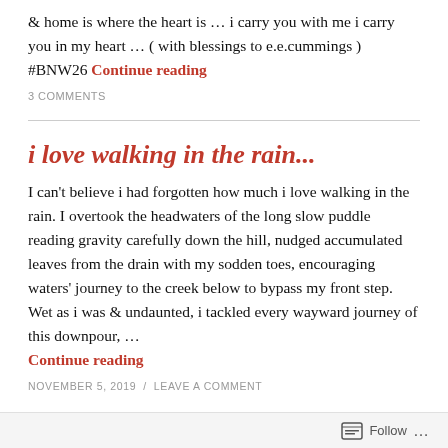& home is where the heart is … i carry you with me i carry you in my heart … ( with blessings to e.e.cummings ) #BNW26 Continue reading
3 COMMENTS
i love walking in the rain...
I can't believe i had forgotten how much i love walking in the rain. I overtook the headwaters of the long slow puddle reading gravity carefully down the hill, nudged accumulated leaves from the drain with my sodden toes, encouraging waters' journey to the creek below to bypass my front step. Wet as i was & undaunted, i tackled every wayward journey of this downpour, … Continue reading
NOVEMBER 5, 2019 / LEAVE A COMMENT
Follow